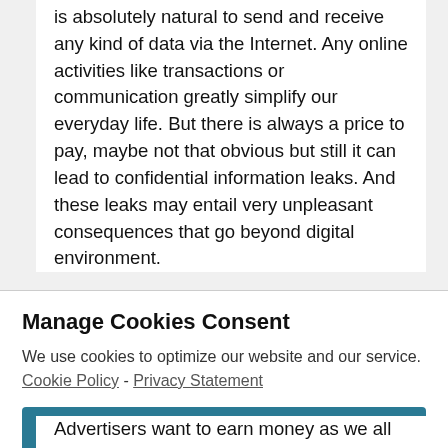is absolutely natural to send and receive any kind of data via the Internet. Any online activities like transactions or communication greatly simplify our everyday life. But there is always a price to pay, maybe not that obvious but still it can lead to confidential information leaks. And these leaks may entail very unpleasant consequences that go beyond digital environment.
Manage Cookies Consent
We use cookies to optimize our website and our service.  Cookie Policy  -  Privacy Statement
Accept
Advertisers want to earn money as we all do so